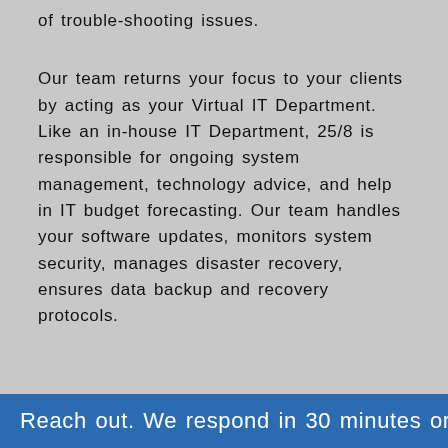of trouble-shooting issues.
Our team returns your focus to your clients by acting as your Virtual IT Department. Like an in-house IT Department, 25/8 is responsible for ongoing system management, technology advice, and help in IT budget forecasting. Our team handles your software updates, monitors system security, manages disaster recovery, ensures data backup and recovery protocols.
Reach out. We respond in 30 minutes or